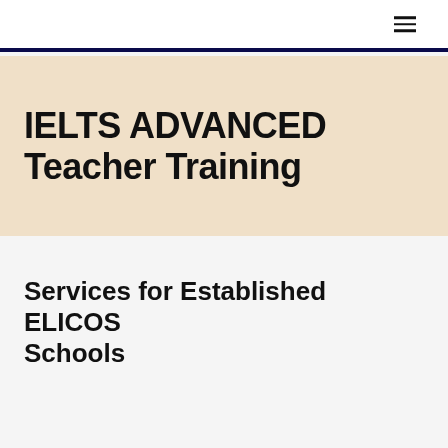IELTS ADVANCED Teacher Training
Services for Established ELICOS Schools